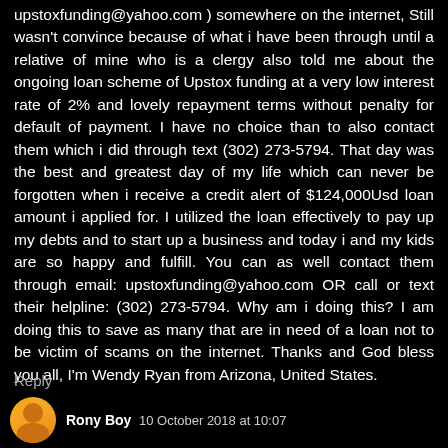upstoxfunding@yahoo.com ) somewhere on the internet, Still wasn't convince because of what i have been through until a relative of mine who is a clergy also told me about the ongoing loan scheme of Upstox funding at a very low interest rate of 2% and lovely repayment terms without penalty for default of payment. I have no choice than to also contact them which i did through text (302) 273-5794. That day was the best and greatest day of my life which can never be forgotten when i receive a credit alert of $124,000Usd loan amount i applied for. I utilized the loan effectively to pay up my debts and to start up a business and today i and my kids are so happy and fulfill. You can as well contact them through email: upstoxfunding@yahoo.com OR call or text their helpline: (302) 273-5794. Why am i doing this? I am doing this to save as many that are in need of a loan not to be victim of scams on the internet. Thanks and God bless you all, I'm Wendy Ryan from Arizona, United States.
Reply
Rony Boy  10 October 2018 at 10:07